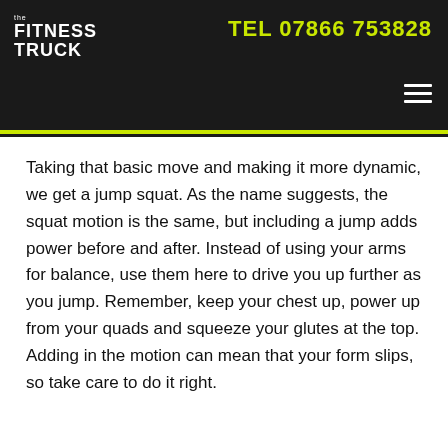the FITNESS TRUCK | TEL 07866 753828
Taking that basic move and making it more dynamic, we get a jump squat. As the name suggests, the squat motion is the same, but including a jump adds power before and after. Instead of using your arms for balance, use them here to drive you up further as you jump. Remember, keep your chest up, power up from your quads and squeeze your glutes at the top. Adding in the motion can mean that your form slips, so take care to do it right.